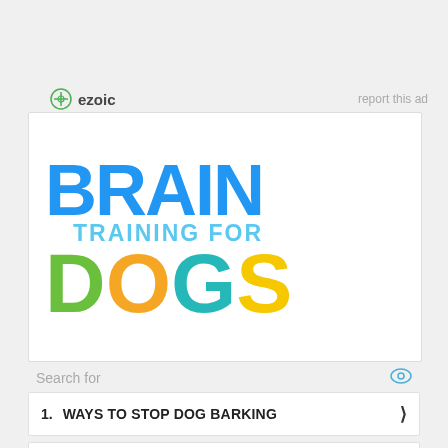[Figure (logo): Ezoic logo with circular icon and bold text 'ezoic']
report this ad
[Figure (illustration): Brain Training for Dogs advertisement image with colorful block letters: 'BRAIN' in blue, 'TRAINING FOR' in light blue, 'DOGS' in green, orange, teal, and yellow]
Search for
1.  WAYS TO STOP DOG BARKING
2.  HOW TO TRAIN YOUR DOG